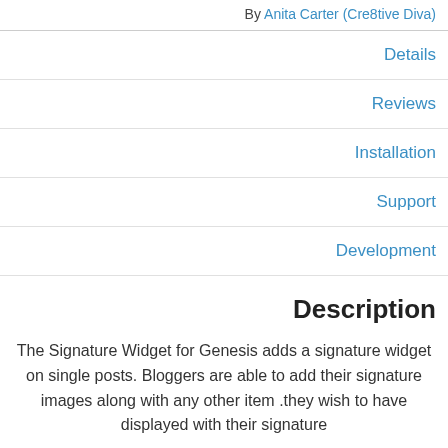By Anita Carter (Cre8tive Diva)
Details
Reviews
Installation
Support
Development
Description
The Signature Widget for Genesis adds a signature widget on single posts. Bloggers are able to add their signature images along with any other item they wish to have displayed with their signature